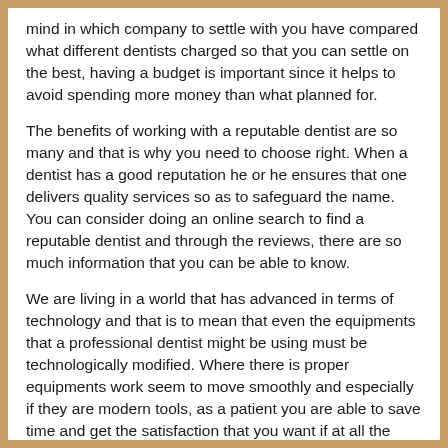mind in which company to settle with you have compared what different dentists charged so that you can settle on the best, having a budget is important since it helps to avoid spending more money than what planned for.
The benefits of working with a reputable dentist are so many and that is why you need to choose right. When a dentist has a good reputation he or he ensures that one delivers quality services so as to safeguard the name. You can consider doing an online search to find a reputable dentist and through the reviews, there are so much information that you can be able to know.
We are living in a world that has advanced in terms of technology and that is to mean that even the equipments that a professional dentist might be using must be technologically modified. Where there is proper equipments work seem to move smoothly and especially if they are modern tools, as a patient you are able to save time and get the satisfaction that you want if at all the dentist that you have selected have the modern tools.
Not all the dentists that you may across with are able to prioritize the needs of the patients and that is to mean that